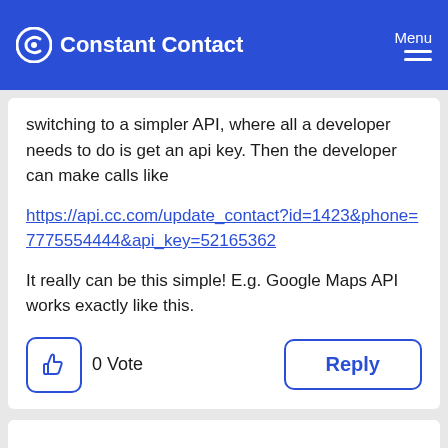Constant Contact | Menu
switching to a simpler API, where all a developer needs to do is get an api key. Then the developer can make calls like
https://api.cc.com/update_contact?id=1423&phone=7775554444&api_key=52165362
It really can be this simple! E.g. Google Maps API works exactly like this.
0 Vote
Reply